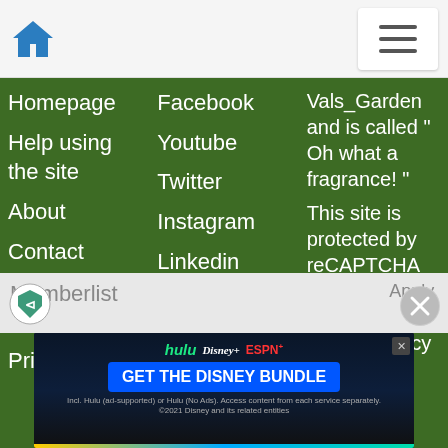Homepage | Help using the site | About | Contact | Terms of Service | Privacy
Homepage
Help using the site
About
Contact
Terms of Service
Privacy
Facebook
Youtube
Twitter
Instagram
Linkedin
Vals_Garden and is called " Oh what a fragrance! "
This site is protected by reCAPTCHA and the Google Privacy Policy and
Memberlist
[Figure (infographic): Disney Bundle advertisement banner with Hulu, Disney+, ESPN+ logos and GET THE DISNEY BUNDLE CTA button]